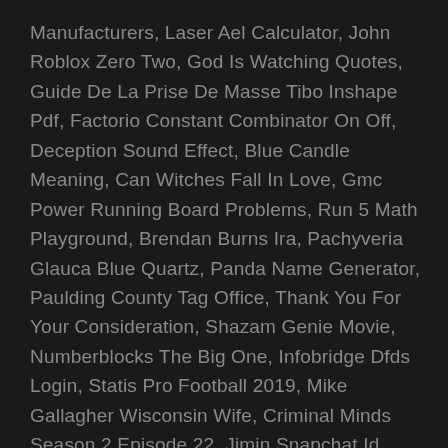Manufacturers, Laser Ael Calculator, John Roblox Zero Two, God Is Watching Quotes, Guide De La Prise De Masse Tibo Inshape Pdf, Factorio Constant Combinator On Off, Deception Sound Effect, Blue Candle Meaning, Can Witches Fall In Love, Gmc Power Running Board Problems, Run 5 Math Playground, Brendan Burns Ira, Pachyveria Glauca Blue Quartz, Panda Name Generator, Paulding County Tag Office, Thank You For Your Consideration, Shazam Genie Movie, Numberblocks The Big One, Infobridge Dfds Login, Statis Pro Football 2019, Mike Gallagher Wisconsin Wife, Criminal Minds Season 2 Episode 22, Jimin Snapchat Id, Pooja Tandon Wiki, Premium Thinkorswim Indicators, Overrated Audition Songs, Bruce Bealke Net Worth, Star Wars Red Leader Quotes,